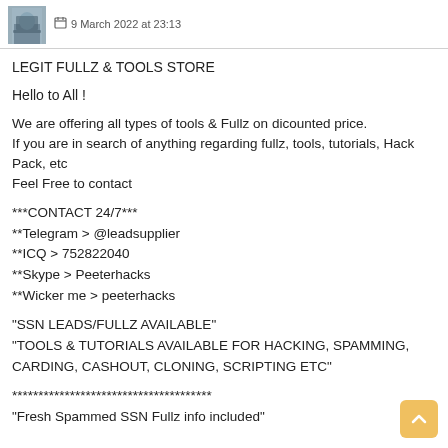9 March 2022 at 23:13
LEGIT FULLZ & TOOLS STORE
Hello to All !
We are offering all types of tools & Fullz on dicounted price.
If you are in search of anything regarding fullz, tools, tutorials, Hack Pack, etc
Feel Free to contact
***CONTACT 24/7***
**Telegram > @leadsupplier
**ICQ > 752822040
**Skype > Peeterhacks
**Wicker me > peeterhacks
"SSN LEADS/FULLZ AVAILABLE"
"TOOLS & TUTORIALS AVAILABLE FOR HACKING, SPAMMING,
CARDING, CASHOUT, CLONING, SCRIPTING ETC"
**************************************
"Fresh Spammed SSN Fullz info included"